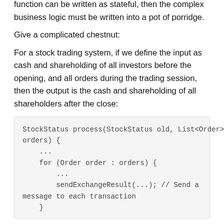Do you think this example is too simple? In fact, if a simple function can be written as stateful, then the complex business logic must be written into a pot of porridge.
Give a complicated chestnut:
For a stock trading system, if we define the input as cash and shareholding of all investors before the opening, and all orders during the trading session, then the output is the cash and shareholding of all shareholders after the close:
StockStatus process(StockStatus old, List<Order> orders) {
    ...
    for (Order order : orders) {
        ...
        sendExchangeResult(...); // Send a message to each transaction
    }